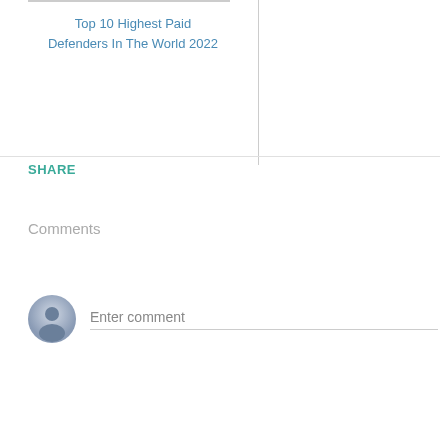Top 10 Highest Paid Defenders In The World 2022
SHARE
Comments
Enter comment